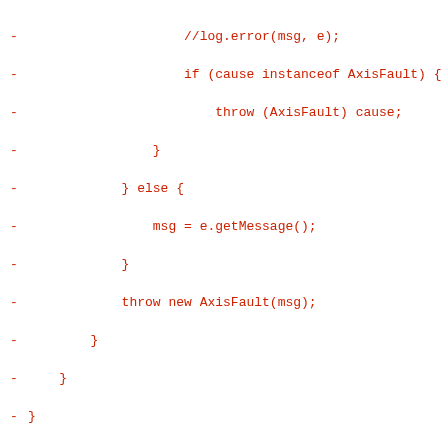-                     //log.error(msg, e);
-                     if (cause instanceof AxisFault) {
-                         throw (AxisFault) cause;
-                 }
-             } else {
-                 msg = e.getMessage();
-             }
-             throw new AxisFault(msg);
-         }
-     }
- }